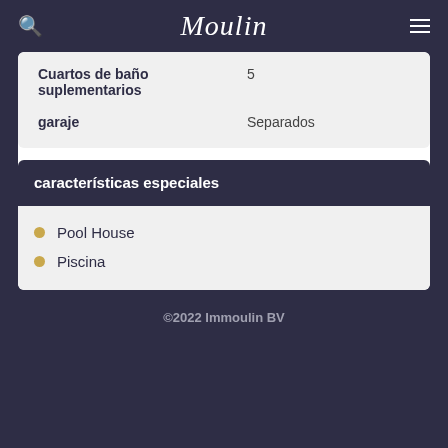Moulin
| Cuartos de baño suplementarios | 5 |
| garaje | Separados |
características especiales
Pool House
Piscina
©2022 Immoulin BV